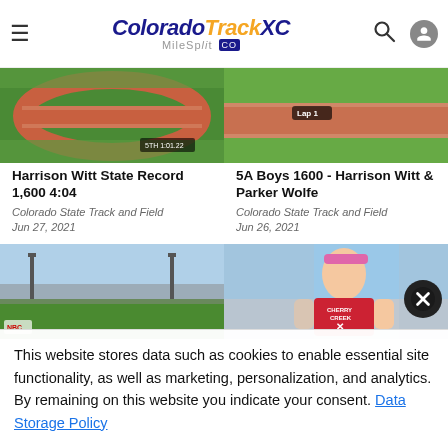ColoradoTrackXC MileSplit CO
[Figure (photo): Aerial view of a track race with runners on a red track, crowd visible]
Harrison Witt State Record 1,600 4:04
Colorado State Track and Field
Jun 27, 2021
[Figure (photo): Track race with runners on a red track, overlay text 'Lap 1']
5A Boys 1600 - Harrison Witt & Parker Wolfe
Colorado State Track and Field
Jun 26, 2021
[Figure (photo): Wide-angle view of a sports field with stands]
[Figure (photo): Young male runner in red Cherry Creek shirt with pink headband, on a track]
This website stores data such as cookies to enable essential site functionality, as well as marketing, personalization, and analytics. By remaining on this website you indicate your consent. Data Storage Policy